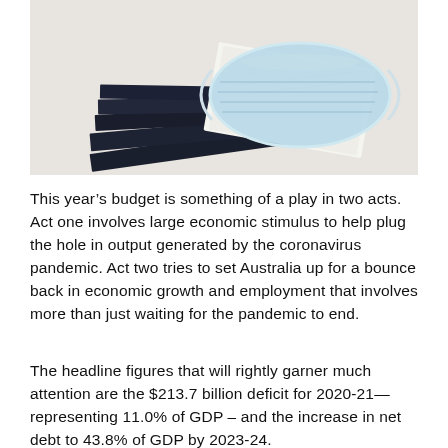[Figure (photo): A surgical face mask resting on top of a stack of dark navy/black books or notebooks, against a light beige/white background.]
This year’s budget is something of a play in two acts. Act one involves large economic stimulus to help plug the hole in output generated by the coronavirus pandemic. Act two tries to set Australia up for a bounce back in economic growth and employment that involves more than just waiting for the pandemic to end.
The headline figures that will rightly garner much attention are the $213.7 billion deficit for 2020-21—representing 11.0% of GDP – and the increase in net debt to 43.8% of GDP by 2023-24.